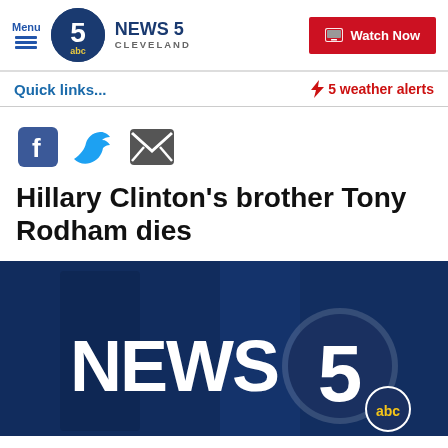Menu | NEWS 5 CLEVELAND | Watch Now
Quick links...
5 weather alerts
[Figure (screenshot): Social sharing icons: Facebook, Twitter, Email]
Hillary Clinton's brother Tony Rodham dies
[Figure (logo): News 5 Cleveland ABC logo on dark blue background]